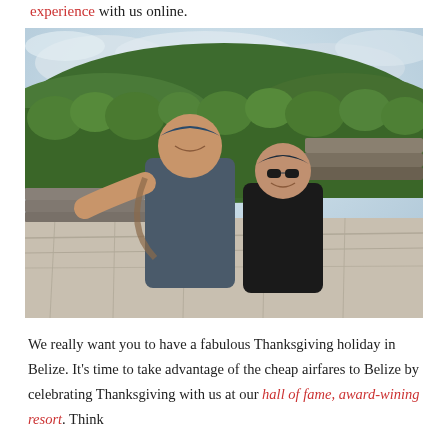experience with us online.
[Figure (photo): Couple taking a selfie at the top of a Mayan ruin in Belize, with a vast green jungle and ancient stone pyramid terraces visible in the background under a cloudy sky.]
We really want you to have a fabulous Thanksgiving holiday in Belize. It's time to take advantage of the cheap airfares to Belize by celebrating Thanksgiving with us at our hall of fame, award-wining resort. Think